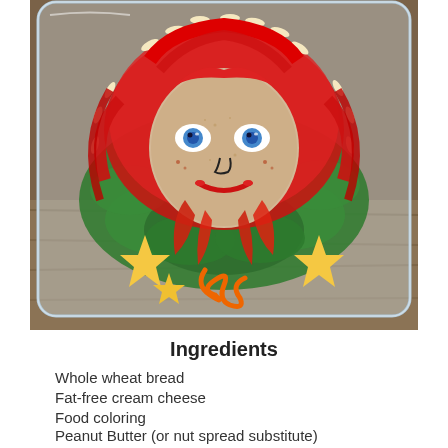[Figure (photo): A creative bento-box style lunch arranged to look like a girl's face. A cracker or bread slice forms the face with blueberry eyes, red pepper lips, and cream cheese details. Red strawberry jam or fruit forms the hair. The face sits on a bed of spinach leaves, surrounded by star-shaped cheese pieces, sliced almonds, red pepper strips, and a curled orange pepper ribbon at the bottom. All arranged in a clear plastic container on a wooden surface.]
Ingredients
Whole wheat bread
Fat-free cream cheese
Food coloring
Peanut Butter (or nut spread substitute)